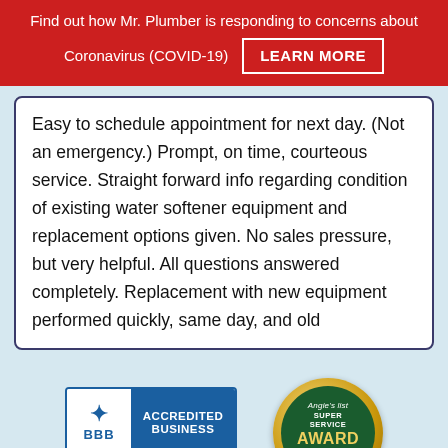Find out how Mr. Plumber is responding to concerns about Coronavirus (COVID-19)   LEARN MORE
Easy to schedule appointment for next day. (Not an emergency.) Prompt, on time, courteous service. Straight forward info regarding condition of existing water softener equipment and replacement options given. No sales pressure, but very helpful. All questions answered completely. Replacement with new equipment performed quickly, same day, and old
[Figure (logo): BBB Accredited Business badge with BBB Rating: A+]
[Figure (logo): Angie's list Super Service Award 2020 badge]